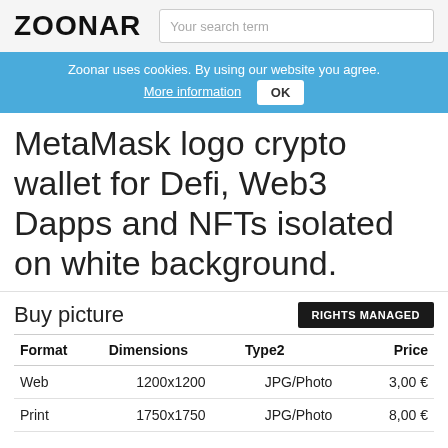ZOONAR | Your search term
Zoonar uses cookies. By using our website you agree. More information OK
MetaMask logo crypto wallet for Defi, Web3 Dapps and NFTs isolated on white background.
Buy picture
| Format | Dimensions | Type2 | Price |
| --- | --- | --- | --- |
| Web | 1200x1200 | JPG/Photo | 3,00 € |
| Print | 1750x1750 | JPG/Photo | 8,00 € |